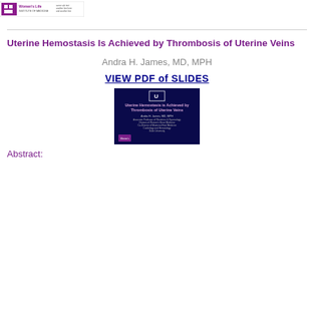[Figure (logo): Women's Life or similar organization logo/header image at top center]
Uterine Hemostasis Is Achieved by Thrombosis of Uterine Veins
Andra H. James, MD, MPH
VIEW PDF of SLIDES
[Figure (screenshot): Thumbnail of presentation slide cover titled 'Uterine Hemostasis is Achieved by Thrombosis of Uterine Veins' by Andra H. James, MD, MPH on dark navy background with white university logo]
Abstract: